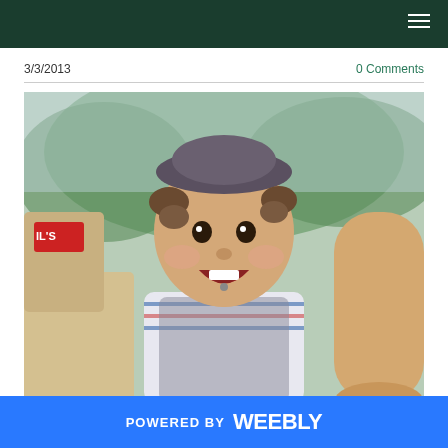3/3/2013
0 Comments
[Figure (photo): A young toddler wearing a grey cap and blue/white striped vest with an excited, open-mouthed expression, surrounded by what appear to be large adult hands and a grocery bag, outdoors with greenery in background.]
By Lloyd Glenn
POWERED BY weebly